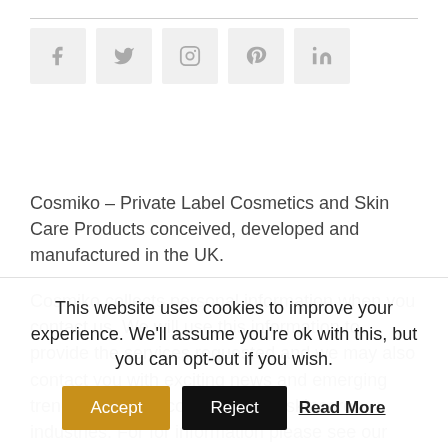[Figure (other): Social media icon buttons row: Facebook, Twitter, Instagram, Pinterest, LinkedIn]
Cosmiko – Private Label Cosmetics and Skin Care Products conceived, developed and manufactured in the UK.
Cosmiko collects personal information when you contact us. We will use this information to provide the services requested and we may also contact you with exciting news and emerging trends within the cosmetics and skincare industries. For for information please see our Privacy Policy. Cosmiko will not share your
This website uses cookies to improve your experience. We'll assume you're ok with this, but you can opt-out if you wish.
Accept   Reject   Read More